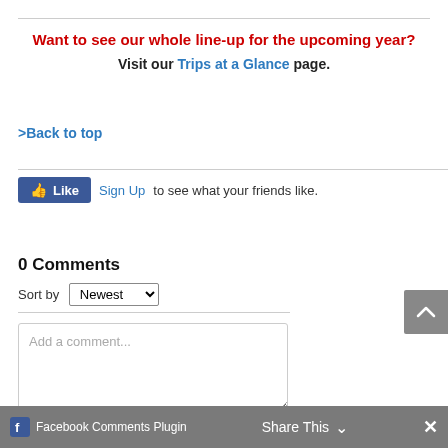Want to see our whole line-up for the upcoming year? Visit our Trips at a Glance page.
>Back to top
[Figure (screenshot): Facebook Like button with Sign Up link and text 'to see what your friends like.']
0 Comments
Sort by Newest
Add a comment...
Facebook Comments Plugin | Share This | ×